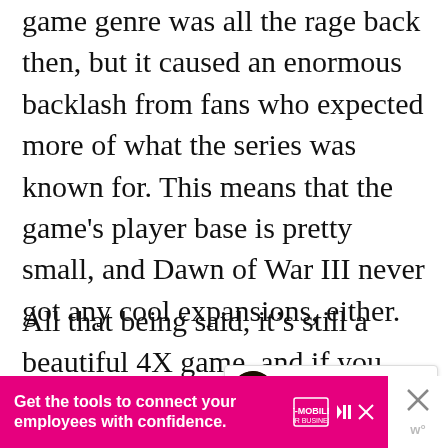game genre was all the rage back then, but it caused an enormous backlash from fans who expected more of what the series was known for. This means that the game's player base is pretty small, and Dawn of War III never got any cool expansions, either.
All that being said, it's still a beautiful 4X game, and if you can get over the fact that it's not Dawn of War II, it's a... fun.
[Figure (other): Heart/favorite button (teal circle with heart icon) and share button (white circle with share icon)]
[Figure (other): What's Next widget showing Total War Warhammer...]
[Figure (other): T-Mobile for Business advertisement banner: 'Get the tools to connect your employees with confidence.']